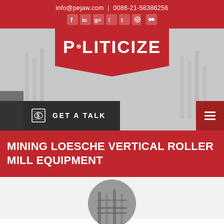info@pejaw.com  |  0086-21-58386256
[Figure (screenshot): Social media icons row: Facebook, LinkedIn, Google+, Twitter, Tumblr, Instagram, Flickr]
POLITICIZE
GET A TALK
MINING LOESCHE VERTICAL ROLLER MILL EQUIPMENT
[Figure (photo): Circular thumbnail photo of industrial equipment/machinery interior]